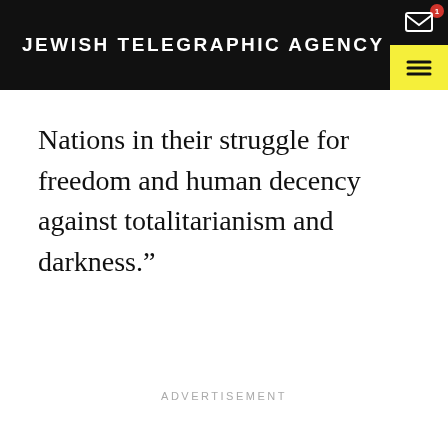JEWISH TELEGRAPHIC AGENCY
Nations in their struggle for freedom and human decency against totalitarianism and darkness.”
ADVERTISEMENT